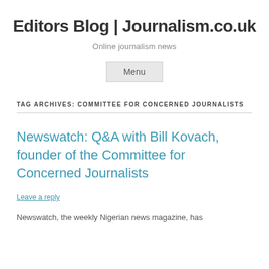Editors Blog | Journalism.co.uk
Online journalism news
Menu
TAG ARCHIVES: COMMITTEE FOR CONCERNED JOURNALISTS
Newswatch: Q&A with Bill Kovach, founder of the Committee for Concerned Journalists
Leave a reply
Newswatch, the weekly Nigerian news magazine, has